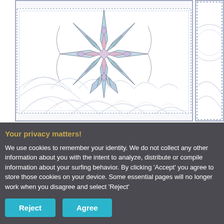[Figure (illustration): Quilting/coloring pattern with geometric snowflake star design in blue and pink tones, with arc patterns below. Two panels visible: main large panel and partial right panel. A second row shows a partial panel with curved arc patterns.]
Your privacy matters!
We use cookies to remember your identity. We do not collect any other information about you with the intent to analyze, distribute or compile information about your surfing behavior. By clicking 'Accept' you agree to store those cookies on your device. Some essential pages will no longer work when you disagree and select 'Reject'